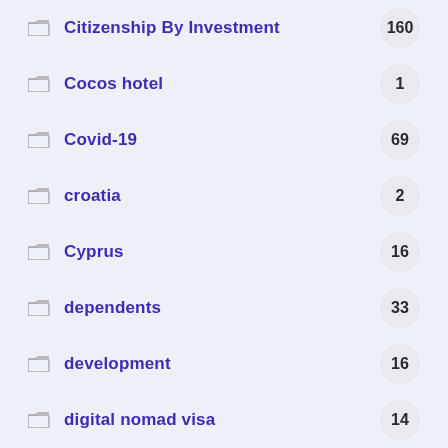Citizenship By Investment
Cocos hotel
Covid-19
croatia
Cyprus
dependents
development
digital nomad visa
digital residence programme
digital transformation